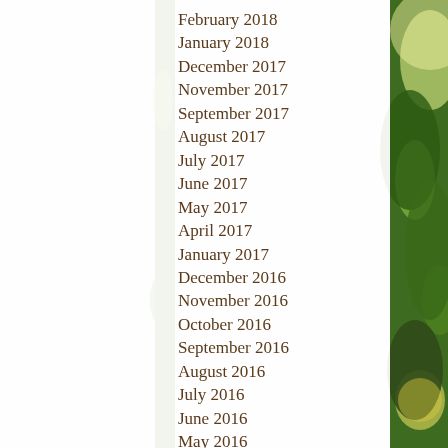[Figure (photo): Background photo of sunlit green foliage/leaves, visible on the right side and left edge of the page behind the list.]
February 2018
January 2018
December 2017
November 2017
September 2017
August 2017
July 2017
June 2017
May 2017
April 2017
January 2017
December 2016
November 2016
October 2016
September 2016
August 2016
July 2016
June 2016
May 2016
April 2016
March 2016
February 2016
January 2016